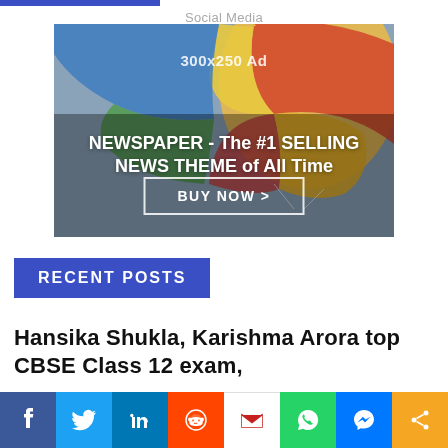[Figure (other): Blue horizontal bar / brand strip at top left]
Social Media
[Figure (other): 300x250 Ad banner with hot air balloon background. Text reads: '300x250 Ad' at top. 'NEWSPAPER - The #1 SELLING NEWS THEME of All Time' in center. 'BUY NOW >' button at bottom.]
RECENT POSTS
Hansika Shukla, Karishma Arora top CBSE Class 12 exam,
[Figure (other): Social media share bar at bottom with icons: Facebook, Twitter, LinkedIn, Reddit, Gmail, WhatsApp, Messenger, Share]